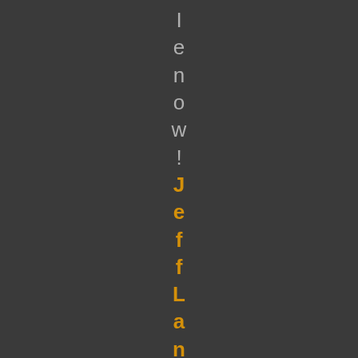I enow! Jeff Langer Remembers.